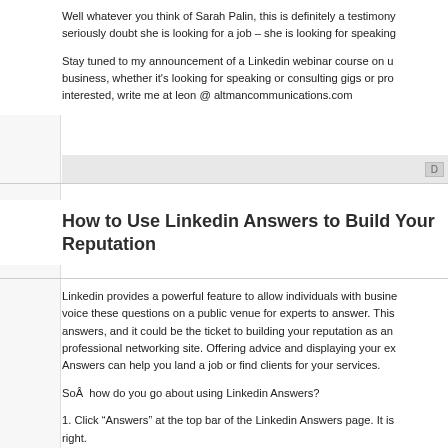Well whatever you think of Sarah Palin, this is definitely a testimony seriously doubt she is looking for a job – she is looking for speaking
Stay tuned to my announcement of a Linkedin webinar course on u business, whether it's looking for speaking or consulting gigs or pr interested, write me at leon @ altmancommunications.com
How to Use Linkedin Answers to Build Your Reputation
Linkedin provides a powerful feature to allow individuals with busine voice these questions on a public venue for experts to answer. This answers, and it could be the ticket to building your reputation as an professional networking site. Offering advice and displaying your ex Answers can help you land a job or find clients for your services.
SoÂ  how do you go about using Linkedin Answers?
1. Click “Answers” at the top bar of the Linkedin Answers page. It is right.